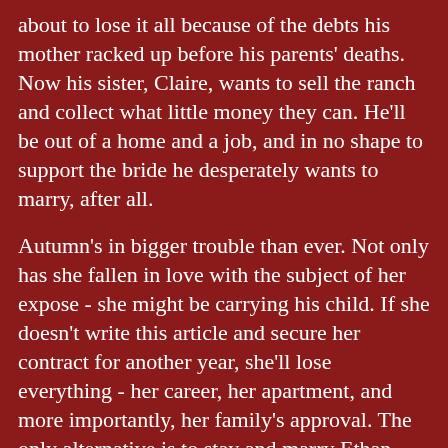about to lose it all because of the debts his mother racked up before his parents' deaths. Now his sister, Claire, wants to sell the ranch and collect what little money they can. He'll be out of a home and a job, and in no shape to support the bride he desperately wants to marry, after all.
Autumn's in bigger trouble than ever. Not only has she fallen in love with the subject of her expose - she might be carrying his child. If she doesn't write this article and secure her contract for another year, she'll lose everything - her career, her apartment, and more importantly, her family's approval. The only alternative is to stay and marry Ethan. But how can she trust a man she's just met when she knows too well that men always let you down?
Can a love based on lies last?